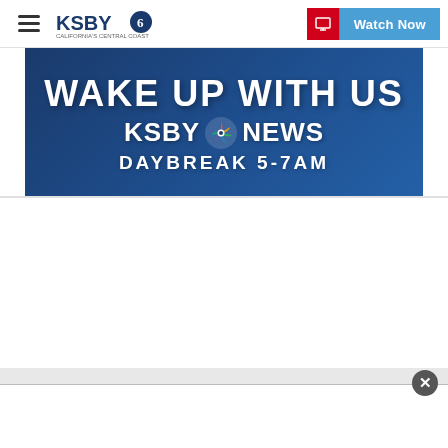KSBY News - California's Central Coast | Watch Now
[Figure (screenshot): KSBY News promotional banner: dark blue background with white bold text 'WAKE UP WITH US', KSBY6 News logo with NBC peacock, and text 'DAYBREAK 5-7AM']
[Figure (screenshot): Close button (X) circle icon for dismissing a popup overlay, positioned at bottom right of banner area]
[Figure (screenshot): White popup/ad area at the bottom of the page]